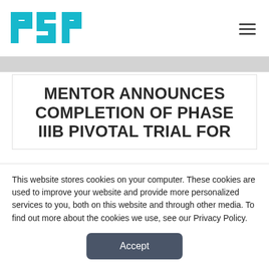[Figure (logo): PSP logo in teal/cyan color with stylized letters P, S, P]
MENTOR ANNOUNCES COMPLETION OF PHASE IIIB PIVOTAL TRIAL FOR
This website stores cookies on your computer. These cookies are used to improve your website and provide more personalized services to you, both on this website and through other media. To find out more about the cookies we use, see our Privacy Policy.